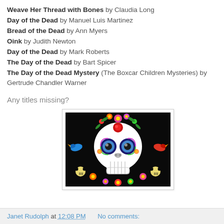Weave Her Thread with Bones by Claudia Long
Day of the Dead by Manuel Luis Martinez
Bread of the Dead by Ann Myers
Oink by Judith Newton
Day of the Dead by Mark Roberts
The Day of the Dead by Bart Spicer
The Day of the Dead Mystery (The Boxcar Children Mysteries) by Gertrude Chandler Warner
Any titles missing?
[Figure (photo): Colorful Day of the Dead sugar skull on black background with floral and bird decorations]
Janet Rudolph at 12:08 PM   No comments: